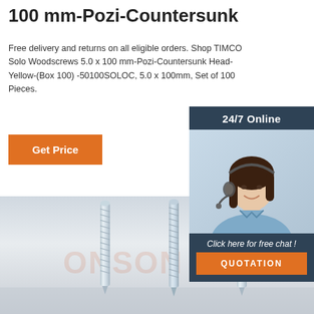100 mm-Pozi-Countersunk
Free delivery and returns on all eligible orders. Shop TIMCO Solo Woodscrews 5.0 x 100 mm-Pozi-Countersunk Head-Yellow-(Box 100) -50100SOLOC, 5.0 x 100mm, Set of 100 Pieces.
Get Price
[Figure (infographic): Customer service sidebar with '24/7 Online' header, photo of woman with headset, 'Click here for free chat!' text, and orange QUOTATION button on dark blue background]
[Figure (photo): Three metallic silver woodscrews standing upright against a grey background, with a faint watermark text 'ONSON']